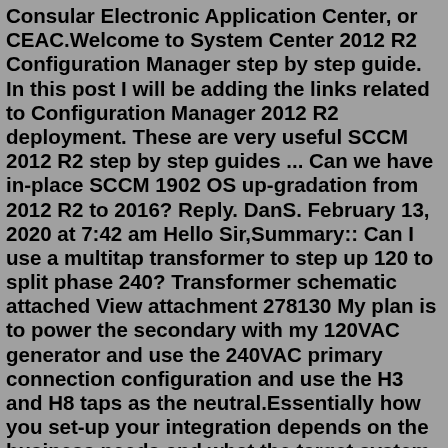Consular Electronic Application Center, or CEAC.Welcome to System Center 2012 R2 Configuration Manager step by step guide. In this post I will be adding the links related to Configuration Manager 2012 R2 deployment. These are very useful SCCM 2012 R2 step by step guides ... Can we have in-place SCCM 1902 OS up-gradation from 2012 R2 to 2016? Reply. DanS. February 13, 2020 at 7:42 am Hello Sir,Summary:: Can I use a multitap transformer to step up 120 to split phase 240? Transformer schematic attached View attachment 278130 My plan is to power the secondary with my 120VAC generator and use the 240VAC primary connection configuration and use the H3 and H8 taps as the neutral.Essentially how you set-up your integration depends on the business needs and what the target system requires. A Cloud Architect could help you a lot here, but with some guidelines and an example of an outbound integration I hope to make this more clear. 1. Go to Integration Center ==> My Integrations ==> Create ==> More Integration